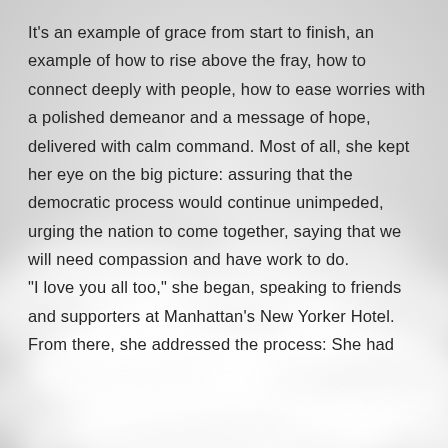[Figure (photo): Aerial view of white clouds filling the lower portion of the background, with a light gray/white gradient sky.]
It's an example of grace from start to finish, an example of how to rise above the fray, how to connect deeply with people, how to ease worries with a polished demeanor and a message of hope, delivered with calm command. Most of all, she kept her eye on the big picture: assuring that the democratic process would continue unimpeded, urging the nation to come together, saying that we will need compassion and have work to do.
"I love you all too," she began, speaking to friends and supporters at Manhattan's New Yorker Hotel.
From there, she addressed the process: She had